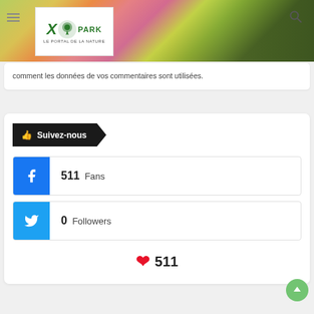[Figure (photo): Header photo of colorful flowers (pink, yellow, orange) in a garden with green grass background. XoPark logo overlaid on left side.]
comment les données de vos commentaires sont utilisées.
👍 Suivez-nous
511 Fans
0 Followers
❤ 511